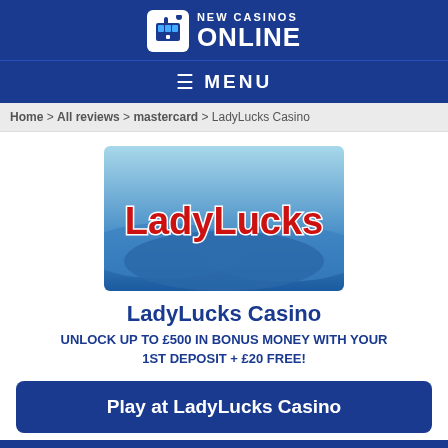NEW CASINOS ONLINE
≡ MENU
Home > All reviews > mastercard > LadyLucks Casino
[Figure (logo): LadyLucks Casino logo on blue gradient background]
LadyLucks Casino
UNLOCK UP TO £500 IN BONUS MONEY WITH YOUR 1ST DEPOSIT + £20 FREE!
Play at LadyLucks Casino
See website for full T&C